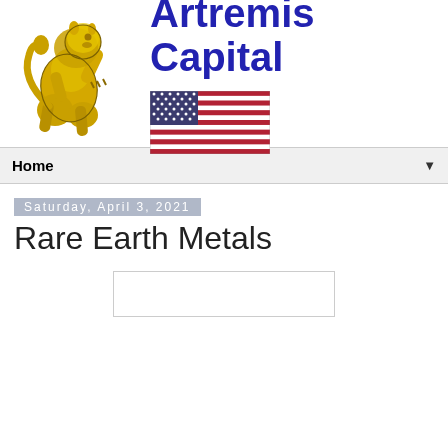[Figure (logo): Artremis Capital logo with yellow heraldic lion rampant on left and bold blue text 'Artremis Capital' on right, with US flag below the text]
Home
Saturday, April 3, 2021
Rare Earth Metals